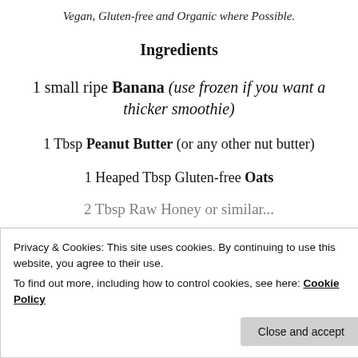Vegan, Gluten-free and Organic where Possible.
Ingredients
1 small ripe Banana (use frozen if you want a thicker smoothie)
1 Tbsp Peanut Butter (or any other nut butter)
1 Heaped Tbsp Gluten-free Oats
Privacy & Cookies: This site uses cookies. By continuing to use this website, you agree to their use.
To find out more, including how to control cookies, see here: Cookie Policy